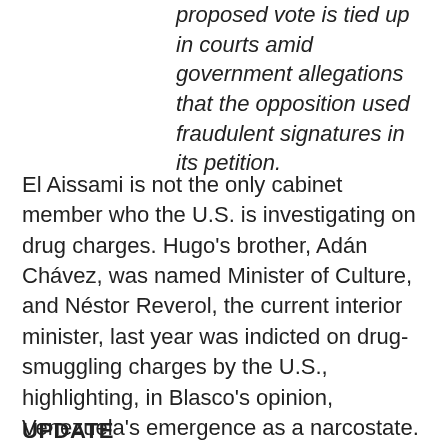proposed vote is tied up in courts amid government allegations that the opposition used fraudulent signatures in its petition.
El Aissami is not the only cabinet member who the U.S. is investigating on drug charges. Hugo's brother, Adán Chávez, was named Minister of Culture, and Néstor Reverol, the current interior minister, last year was indicted on drug-smuggling charges by the U.S., highlighting, in Blasco's opinion, Venezuela's emergence as a narcostate.
UPDATE